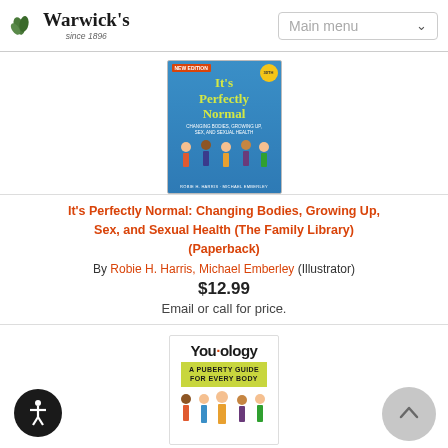Warwick's since 1896 | Main menu
[Figure (photo): Book cover: It's Perfectly Normal - blue background with illustrated children, title in yellow-green text]
It's Perfectly Normal: Changing Bodies, Growing Up, Sex, and Sexual Health (The Family Library) (Paperback)
By Robie H. Harris, Michael Emberley (Illustrator)
$12.99
Email or call for price.
[Figure (photo): Book cover: You-ology: A Puberty Guide for Every Body - white cover with illustrated diverse children]